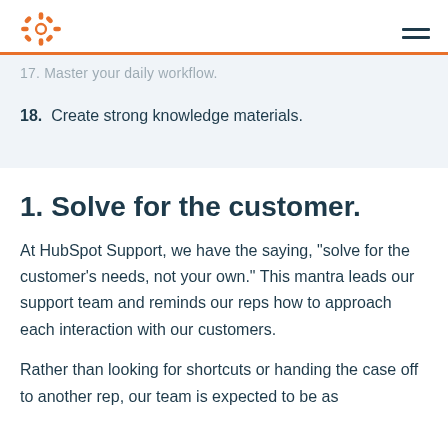HubSpot logo and navigation menu
17. Master your daily workflow.
18.  Create strong knowledge materials.
1. Solve for the customer.
At HubSpot Support, we have the saying, "solve for the customer's needs, not your own." This mantra leads our support team and reminds our reps how to approach each interaction with our customers.
Rather than looking for shortcuts or handing the case off to another rep, our team is expected to be as